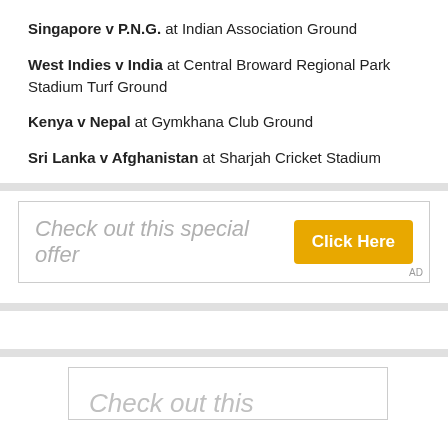Singapore v P.N.G. at Indian Association Ground
West Indies v India at Central Broward Regional Park Stadium Turf Ground
Kenya v Nepal at Gymkhana Club Ground
Sri Lanka v Afghanistan at Sharjah Cricket Stadium
[Figure (other): Advertisement banner: 'Check out this special offer' with orange 'Click Here' button and AD label]
[Figure (other): Partially visible advertisement: 'Check out this' text in italic gray inside a bordered box]